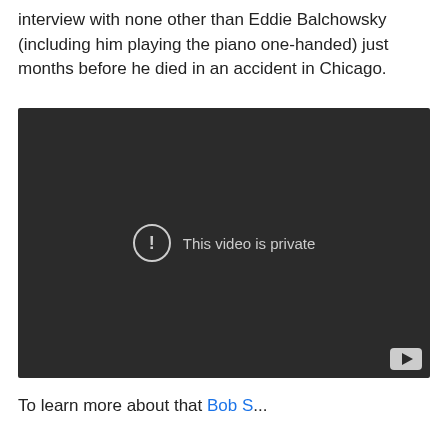interview with none other than Eddie Balchowsky (including him playing the piano one-handed) just months before he died in an accident in Chicago.
[Figure (screenshot): Embedded YouTube video player showing a dark background with a 'This video is private' error message, featuring a circle-exclamation icon and YouTube logo button in the bottom-right corner.]
To learn more about that Bob S...